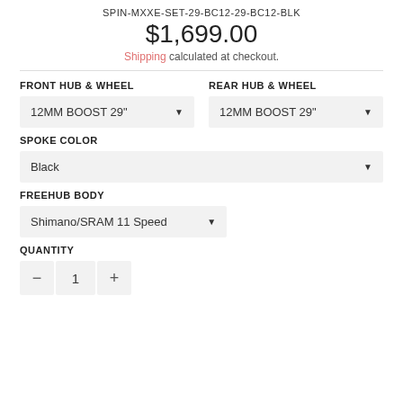SPIN-MXXE-SET-29-BC12-29-BC12-BLK
$1,699.00
Shipping calculated at checkout.
FRONT HUB & WHEEL
REAR HUB & WHEEL
12MM BOOST 29"
12MM BOOST 29"
SPOKE COLOR
Black
FREEHUB BODY
Shimano/SRAM 11 Speed
QUANTITY
1